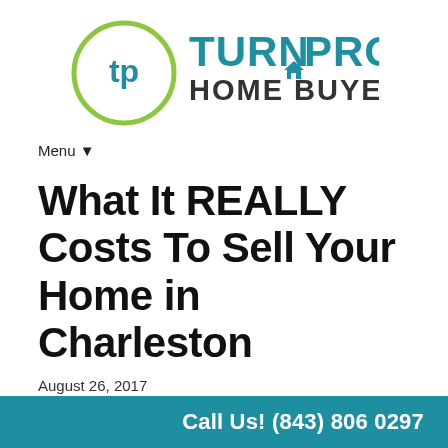[Figure (logo): Turn Pro Home Buyers logo — circular green/teal icon with 'tp' lettermark and teal text 'TURN PRO HOME BUYERS']
Menu ▼
What It REALLY Costs To Sell Your Home in Charleston
August 26, 2017
By turnpro
[Figure (other): Facebook and Twitter social share buttons]
Call Us! (843) 806 0297